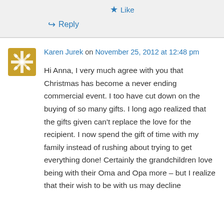Like
Reply
Karen Jurek on November 25, 2012 at 12:48 pm
Hi Anna, I very much agree with you that Christmas has become a never ending commercial event. I too have cut down on the buying of so many gifts. I long ago realized that the gifts given can't replace the love for the recipient. I now spend the gift of time with my family instead of rushing about trying to get everything done! Certainly the grandchildren love being with their Oma and Opa more – but I realize that their wish to be with us may decline